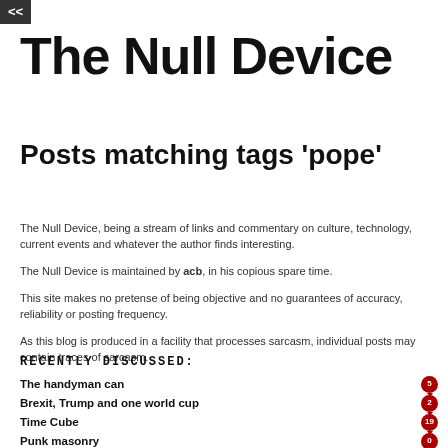<<
The Null Device
Posts matching tags 'pope'
The Null Device, being a stream of links and commentary on culture, technology, current events and whatever the author finds interesting.
The Null Device is maintained by acb, in his copious spare time.
This site makes no pretense of being objective and no guarantees of accuracy, reliability or posting frequency.
As this blog is produced in a facility that processes sarcasm, individual posts may contain traces of sarcasm.
RECENTLY DISCUSSED:
The handyman can
Brexit, Trump and one world cup
Time Cube
Punk masonry
The People's Prince